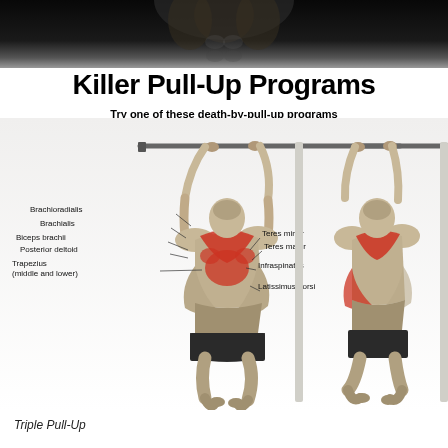[Figure (photo): Dark background photo showing muscular torso/abs from below in dramatic lighting]
Killer Pull-Up Programs
Try one of these death-by-pull-up programs
[Figure (illustration): Anatomical illustration of two muscular figures performing pull-ups. Left figure shows front-facing back view with muscle labels: Brachioradialis, Brachialis, Biceps brachii, Posterior deltoid, Trapezius (middle and lower), Teres minor, Teres major, Infraspinatus, Latissimus dorsi. Right figure shows side/back view with highlighted muscles in red. Both figures are hanging from a pull-up bar.]
Triple Pull-Up